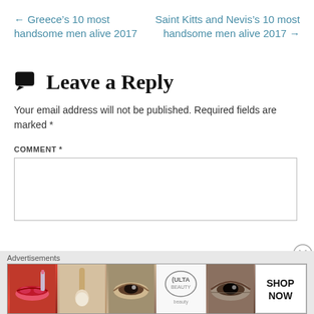← Greece’s 10 most handsome men alive 2017
Saint Kitts and Nevis’s 10 most handsome men alive 2017 →
Leave a Reply
Your email address will not be published. Required fields are marked *
COMMENT *
[Figure (screenshot): Comment text input box]
Advertisements
[Figure (infographic): ULTA beauty advertisement banner with makeup images and SHOP NOW button]